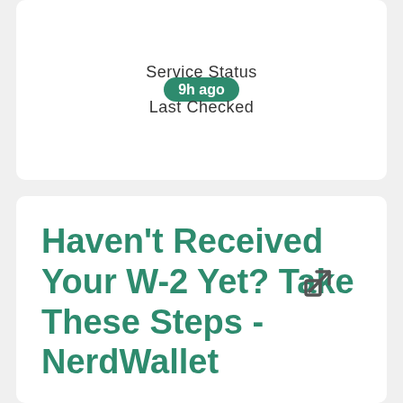Service Status
9h ago
Last Checked
Haven't Received Your W-2 Yet? Take These Steps - NerdWallet